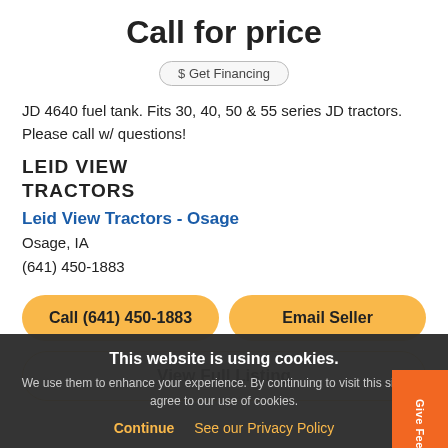Call for price
$ Get Financing
JD 4640 fuel tank. Fits 30, 40, 50 & 55 series JD tractors. Please call w/ questions!
[Figure (logo): LEID VIEW TRACTORS logo text in bold uppercase]
Leid View Tractors - Osage
Osage, IA
(641) 450-1883
Call (641) 450-1883
Email Seller
View Full Listing
This website is using cookies.
We use them to enhance your experience. By continuing to visit this site you agree to our use of cookies.
Continue  See our Privacy Policy
Give Feedback